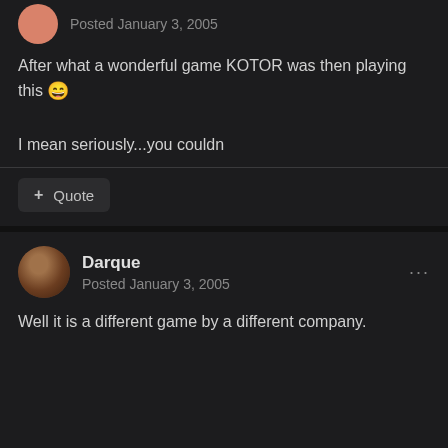Posted January 3, 2005
After what a wonderful game KOTOR was then playing this 😄
I mean seriously...you couldn
+ Quote
Darque
Posted January 3, 2005
Well it is a different game by a different company.